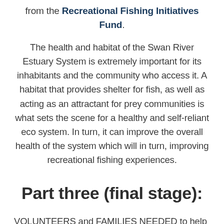from the Recreational Fishing Initiatives Fund.
The health and habitat of the Swan River Estuary System is extremely important for its inhabitants and the community who access it. A habitat that provides shelter for fish, as well as acting as an attractant for prey communities is what sets the scene for a healthy and self-reliant eco system. In turn, it can improve the overall health of the system which will in turn, improving recreational fishing experiences.
Part three (final stage):
VOLUNTEERS and FAMILIES NEEDED to help restore